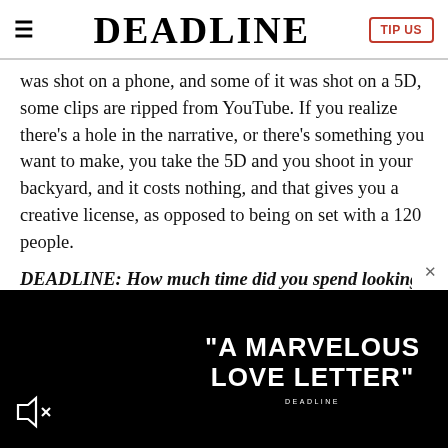≡  DEADLINE  TIP US
was shot on a phone, and some of it was shot on a 5D, some clips are ripped from YouTube. If you realize there's a hole in the narrative, or there's something you want to make, you take the 5D and you shoot in your backyard, and it costs nothing, and that gives you a creative license, as opposed to being on set with a 120 people.
DEADLINE: How much time did you spend looking for archive? I was half expecting there to be some footage of you in the Vatican Commandos, or fronting Flipper.
[Figure (other): Black advertisement banner with white text reading "A MARVELOUS LOVE LETTER" with DEADLINE credit below, and a muted speaker icon on the lower left. An X close button appears on the right edge.]